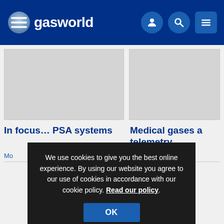gasworld
[Figure (screenshot): Placeholder image left column]
[Figure (screenshot): Placeholder image right column]
In focus... PSA systems
Medical gases a telemetry
We use cookies to give you the best online experience. By using our website you agree to our use of cookies in accordance with our cookie policy. Read our policy.
[Figure (logo): gasworld GLOBAL EDITION logo banner at bottom]